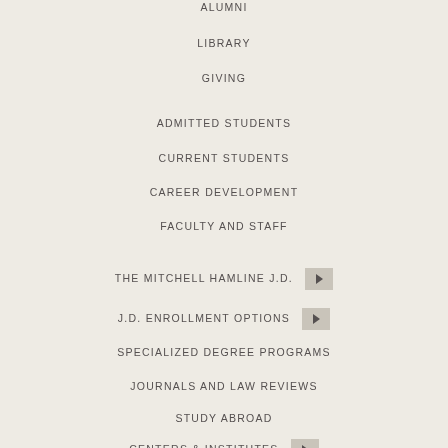ALUMNI
LIBRARY
GIVING
ADMITTED STUDENTS
CURRENT STUDENTS
CAREER DEVELOPMENT
FACULTY AND STAFF
THE MITCHELL HAMLINE J.D.
J.D. ENROLLMENT OPTIONS
SPECIALIZED DEGREE PROGRAMS
JOURNALS AND LAW REVIEWS
STUDY ABROAD
CENTERS & INSTITUTES